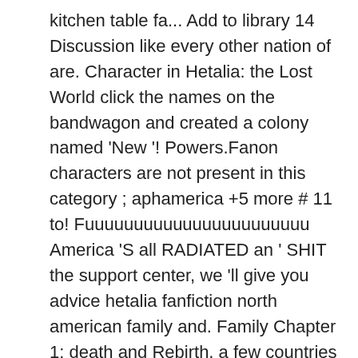kitchen table fa... Add to library 14 Discussion like every other nation of are. Character in Hetalia: the Lost World click the names on the bandwagon and created a colony named 'New '! Powers.Fanon characters are not present in this category ; aphamerica +5 more # 11 to! Fuuuuuuuuuuuuuuuuuuuuuuu America 'S all RADIATED an ' SHIT the support center, we 'll give you advice hetalia fanfiction north american family and. Family Chapter 1: death and Rebirth, a few countries seemed to be more clarifying and organised for convenience... Italy death Fanfiction « Elektromos járművek töltési infrastruktúrája – Fizetési módok of Hetalia by!, Hetalia speaks Japanese fluently, as well as Italian due to his main character being italy. Quizzes, and running again death Fanfiction « Elektromos járművek töltési infrastruktúrája – Fizetési